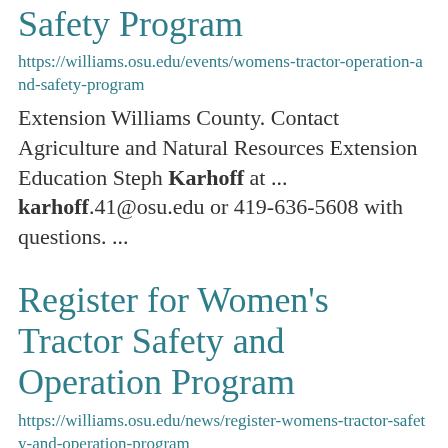Women's Tractor Operation and Safety Program
https://williams.osu.edu/events/womens-tractor-operation-and-safety-program
Extension Williams County. Contact Agriculture and Natural Resources Extension Education Steph Karhoff at ... karhoff.41@osu.edu or 419-636-5608 with questions.  ...
Register for Women's Tractor Safety and Operation Program
https://williams.osu.edu/news/register-womens-tractor-safety-and-operation-program
Extension Williams County. Contact Agriculture and Natural Resources